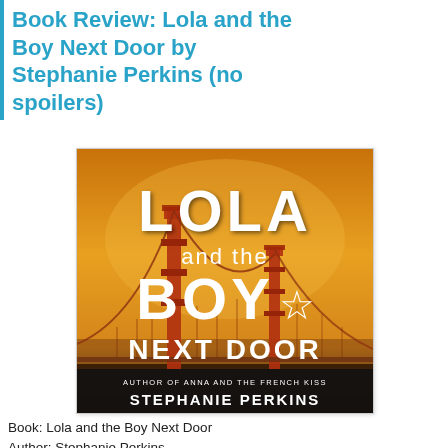Book Review: Lola and the Boy Next Door by Stephanie Perkins (no spoilers)
[Figure (illustration): Book cover of 'Lola and the Boy Next Door' by Stephanie Perkins. Features the Golden Gate Bridge at sunset with orange/amber sky. Large white text reads 'LOLA and the BOY NEXT DOOR' with a star symbol. Bottom text reads 'AUTHOR OF ANNA AND THE FRENCH KISS' and 'STEPHANIE PERKINS'.]
Book: Lola and the Boy Next Door
Author: Stephanie Perkins